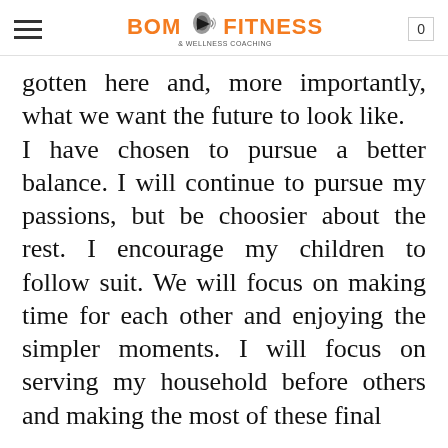BOM FITNESS & WELLNESS COACHING | 0
gotten here and, more importantly, what we want the future to look like. I have chosen to pursue a better balance. I will continue to pursue my passions, but be choosier about the rest. I encourage my children to follow suit. We will focus on making time for each other and enjoying the simpler moments. I will focus on serving my household before others and making the most of these final